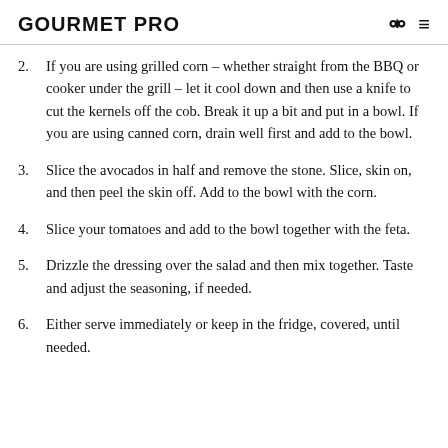GOURMET PRO
2. If you are using grilled corn – whether straight from the BBQ or cooker under the grill – let it cool down and then use a knife to cut the kernels off the cob. Break it up a bit and put in a bowl. If you are using canned corn, drain well first and add to the bowl.
3. Slice the avocados in half and remove the stone. Slice, skin on, and then peel the skin off. Add to the bowl with the corn.
4. Slice your tomatoes and add to the bowl together with the feta.
5. Drizzle the dressing over the salad and then mix together. Taste and adjust the seasoning, if needed.
6. Either serve immediately or keep in the fridge, covered, until needed.